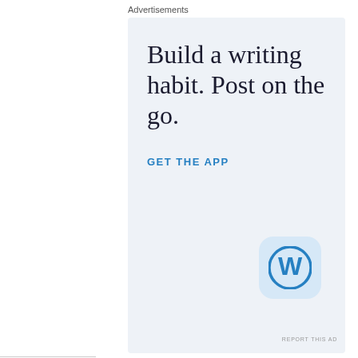Advertisements
[Figure (illustration): WordPress advertisement banner with light blue background. Large serif text reads 'Build a writing habit. Post on the go.' Blue uppercase link text reads 'GET THE APP'. WordPress 'W' app icon shown in a rounded square on the right.]
REPORT THIS AD
Share this:
[Figure (infographic): Infolinks advertisement label in blue bar, followed by a dark strip banner ad showing a Disney film promotion and a woman in green coat on yellow background repeated three times, with a HOT streaming logo and SHOP NOW button on the right.]